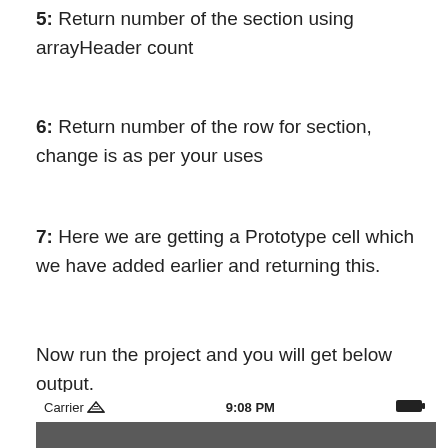5: Return number of the section using arrayHeader count
6: Return number of the row for section, change is as per your uses
7: Here we are getting a Prototype cell which we have added earlier and returning this.
Now run the project and you will get below output.
[Figure (screenshot): iOS simulator screenshot showing status bar with Carrier, 9:08 PM, battery; a gray navigation bar; and a table view with rows 'section: 0  row: 0' and 'section: 0  row: 1'. A scroll-to-top button is visible at bottom right.]